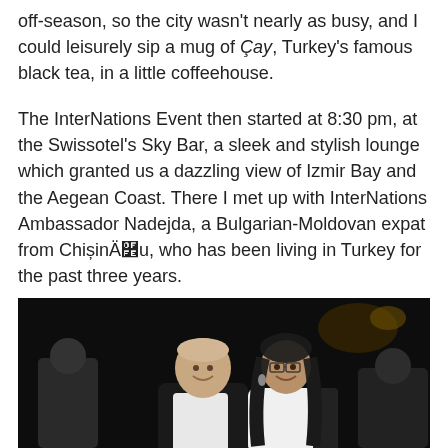off-season, so the city wasn't nearly as busy, and I could leisurely sip a mug of Çay, Turkey's famous black tea, in a little coffeehouse.
The InterNations Event then started at 8:30 pm, at the Swissotel's Sky Bar, a sleek and stylish lounge which granted us a dazzling view of Izmir Bay and the Aegean Coast. There I met up with InterNations Ambassador Nadejda, a Bulgarian-Moldovan expat from ChișinÄÿu, who has been living in Turkey for the past three years.
[Figure (photo): Two people smiling at an event — a man in a dark blazer and white shirt on the left, and a woman with glasses and long dark hair on the right, against a dark background.]